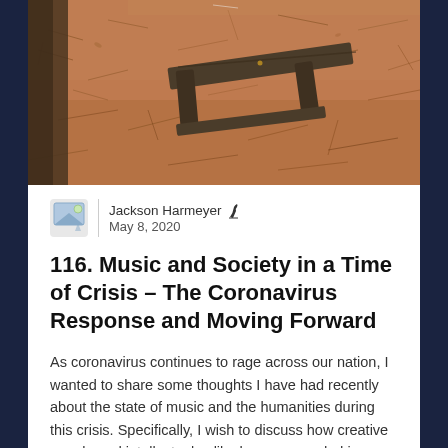[Figure (photo): Outdoor wooden bench sitting on reddish-brown pine needle covered ground near tree trunk]
Jackson Harmeyer
May 8, 2020
116. Music and Society in a Time of Crisis – The Coronavirus Response and Moving Forward
As coronavirus continues to rage across our nation, I wanted to share some thoughts I have had recently about the state of music and the humanities during this crisis. Specifically, I wish to discuss how creative people and intellectuals alike have responded in these confusing and often